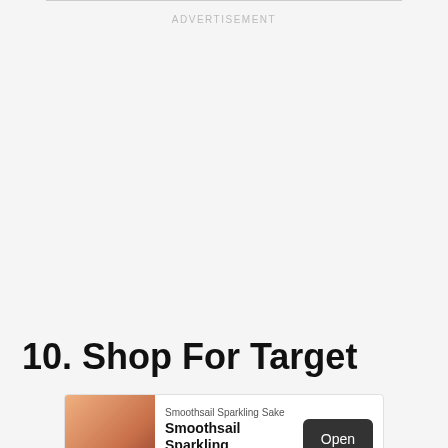ADVERTISEMENT
10. Shop For Target
[Figure (other): Advertisement banner for Smoothsail Sparkling Sake with product image, brand name, and Open button]